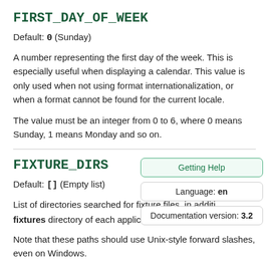FIRST_DAY_OF_WEEK
Default: 0 (Sunday)
A number representing the first day of the week. This is especially useful when displaying a calendar. This value is only used when not using format internationalization, or when a format cannot be found for the current locale.
The value must be an integer from 0 to 6, where 0 means Sunday, 1 means Monday and so on.
FIXTURE_DIRS
Default: [] (Empty list)
List of directories searched for fixture files, in addition to the fixtures directory of each application installed.
Note that these paths should use Unix-style forward slashes, even on Windows.